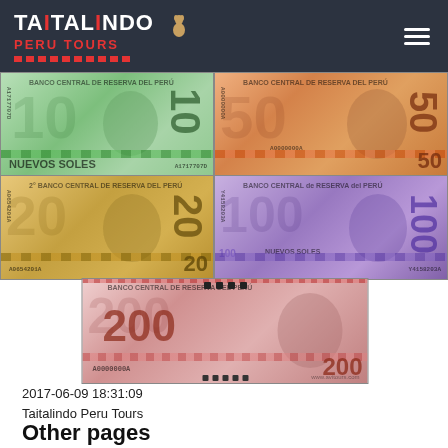TAITALINDO PERU TOURS
[Figure (photo): Collection of Peruvian Nuevos Soles banknotes: 10, 20, 50, 100, and 200 sol bills showing portraits of Peruvian historical figures and Banco Central de Reserva del Peru markings]
2017-06-09 18:31:09
Taitalindo Peru Tours
Other pages